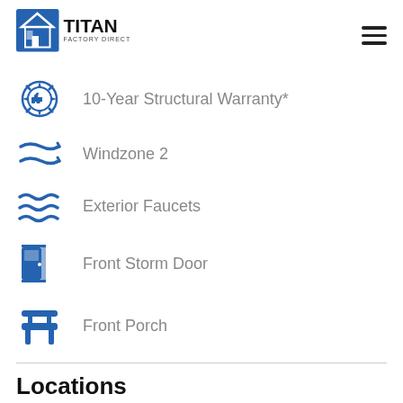[Figure (logo): Titan Factory Direct Homes logo with house icon in blue square]
10-Year Structural Warranty*
Windzone 2
Exterior Faucets
Front Storm Door
Front Porch
Locations
Titan Factory Direct Homes – Bartow, FL
[Figure (map): Google map showing area around Lakeland, FL including Auburndale]
[Figure (other): reCAPTCHA Privacy Terms badge]